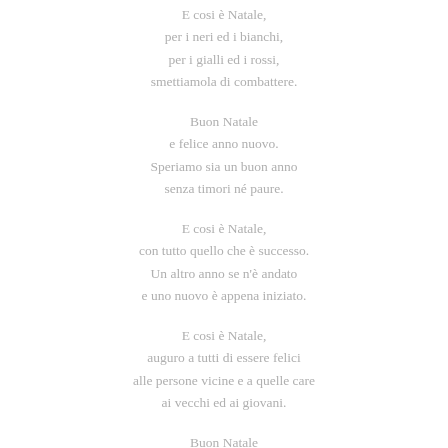E cosi è Natale,
per i neri ed i bianchi,
per i gialli ed i rossi,
smettiamola di combattere.

Buon Natale
e felice anno nuovo.
Speriamo sia un buon anno
senza timori né paure.

E cosi è Natale,
con tutto quello che è successo.
Un altro anno se n'è andato
e uno nuovo è appena iniziato.

E cosi è Natale,
auguro a tutti di essere felici
alle persone vicine e a quelle care
ai vecchi ed ai giovani.

Buon Natale
e felice anno nuovo.
Speriamo sia un buon anno
senza timori né paure.